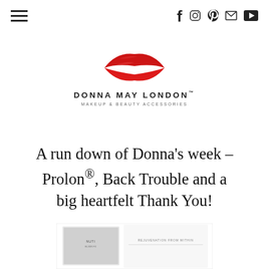Navigation bar with hamburger menu and social icons (Facebook, Instagram, Pinterest, Mail, YouTube)
[Figure (logo): Donna May London logo: red lips SVG above brand name DONNA MAY LONDON and tagline MAKEUP & BEAUTY ACCESSORIES]
A run down of Donna's week – Prolon®, Back Trouble and a big heartfelt Thank You!
[Figure (photo): Partial product image at bottom of page showing what appears to be ProLon packaging]